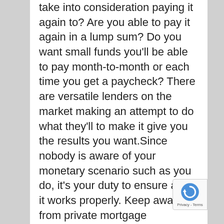take into consideration paying it again to? Are you able to pay it again in a lump sum? Do you want small funds you'll be able to pay month-to-month or each time you get a paycheck? There are versatile lenders on the market making an attempt to do what they'll to make it give you the results you want.Since nobody is aware of your monetary scenario such as you do, it's your duty to ensure all of it works properly. Keep away from private mortgage immediately affords that can get you in over your head as that simply results in larger monetary difficulties you'll be able to't get out of by yourself. Try to pay again greater than you must however all the time keep on high of that obligation.Discuss to the LenderIf you might have any questions or issues, you want to speak to the lender earlier than you apply or earlier than